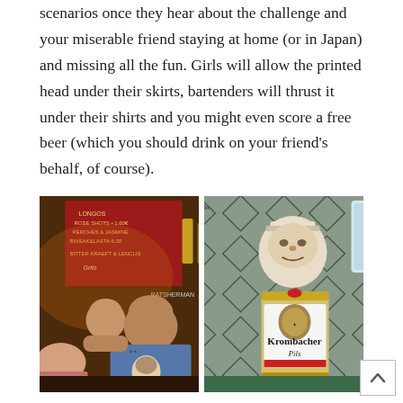scenarios once they hear about the challenge and your miserable friend staying at home (or in Japan) and missing all the fun. Girls will allow the printed head under their skirts, bartenders will thrust it under their shirts and you might even score a free beer (which you should drink on your friend's behalf, of course).
[Figure (photo): Left photo: A man in a bar laughing/pointing, with a printed face cutout visible on his shirt. Bar signs and bottles visible in the background. Right photo: A printed face cutout placed on top of a Krombacher Pils beer can, sitting on a patterned seat (possibly a train).]